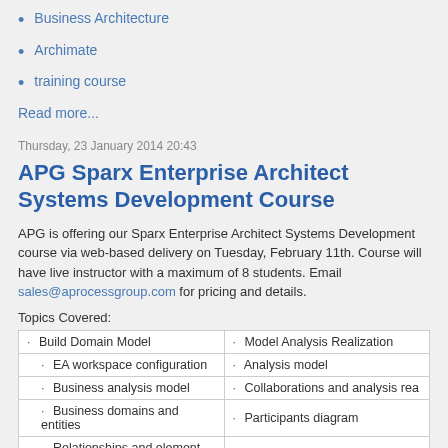Business Architecture
Archimate
training course
Read more...
Thursday, 23 January 2014 20:43
APG Sparx Enterprise Architect Systems Development Course
APG is offering our Sparx Enterprise Architect Systems Development course via web-based delivery on Tuesday, February 11th. Course will have live instructor with a maximum of 8 students. Email sales@aprocessgroup.com for pricing and details.
Topics Covered:
|  |  |
| --- | --- |
| · Build Domain Model | · Model Analysis Realization |
| · EA workspace configuration | · Analysis model |
| · Business analysis model | · Collaborations and analysis rea... |
| · Business domains and entities | · Participants diagram |
| · Relationships and element lists | · Analysis model organization |
| · Build Use Case Model | · Sequence diagrams |